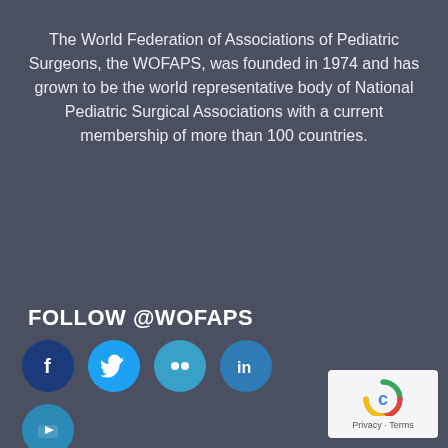The World Federation of Associations of Pediatric Surgeons, the WOFAPS, was founded in 1974 and has grown to be the world representative body of National Pediatric Surgical Associations with a current membership of more than 100 countries.
[Figure (other): PayPal Donate button — yellow/gold rounded rectangle with italic bold text 'Donate']
FOLLOW @WOFAPS
[Figure (other): Row of social media icons: Facebook (dark blue circle), Twitter (light blue circle), Flickr (teal circle), LinkedIn (blue circle); below: YouTube (blue circle)]
[Figure (other): Google reCAPTCHA badge — white rounded rectangle with reCAPTCHA logo and 'Privacy · Terms' text]